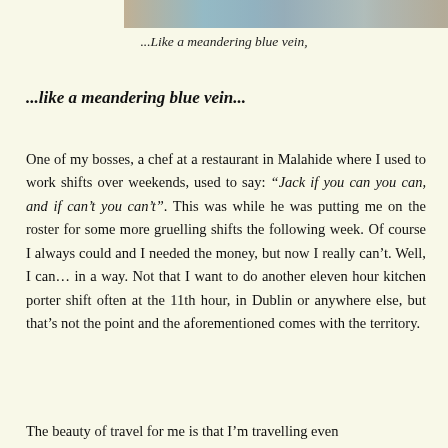[Figure (photo): Top strip of a photograph showing what appears to be a blue vein or river-like pattern, partially cropped]
...Like a meandering blue vein,
...like a meandering blue vein...
One of my bosses, a chef at a restaurant in Malahide where I used to work shifts over weekends, used to say: “Jack if you can you can, and if can’t you can’t”. This was while he was putting me on the roster for some more gruelling shifts the following week. Of course I always could and I needed the money, but now I really can’t. Well, I can… in a way. Not that I want to do another eleven hour kitchen porter shift often at the 11th hour, in Dublin or anywhere else, but that’s not the point and the aforementioned comes with the territory.
The beauty of travel for me is that I’m travelling even